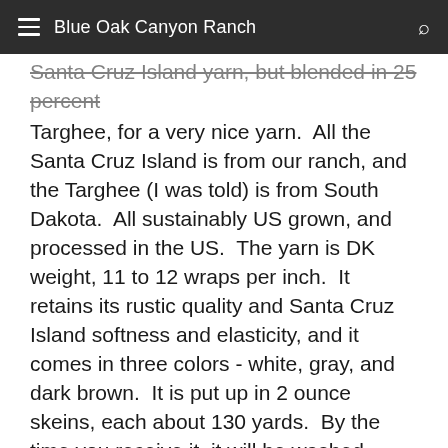Blue Oak Canyon Ranch
Santa Cruz Island yarn, but blended in 25 percent Targhee, for a very nice yarn.  All the Santa Cruz Island is from our ranch, and the Targhee (I was told) is from South Dakota.  All sustainably US grown, and processed in the US.  The yarn is DK weight, 11 to 12 wraps per inch.  It retains its rustic quality and Santa Cruz Island softness and elasticity, and it comes in three colors - white, gray, and dark brown.  It is put up in 2 ounce skeins, each about 130 yards.  By the time you receive it, it will be washed, dried without weights so that it can "bloom", and re-skeined.  $24.00 per skein, plus shipping.  A little VM, and an occasional knot.